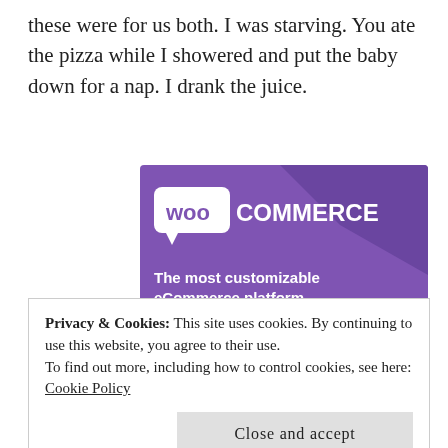these were for us both. I was starving. You ate the pizza while I showered and put the baby down for a nap. I drank the juice.
[Figure (screenshot): WooCommerce advertisement banner showing purple background with WooCommerce logo, text 'The most customizable eCommerce platform', a shopping cart icon, and a 'Start a new store' button.]
Privacy & Cookies: This site uses cookies. By continuing to use this website, you agree to their use.
To find out more, including how to control cookies, see here:
Cookie Policy

Close and accept
Minimum wage to fold household goods. The